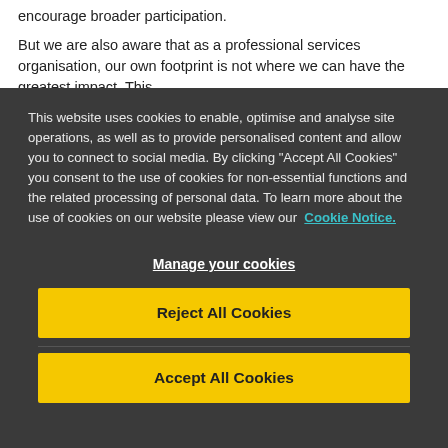encourage broader participation.
But we are also aware that as a professional services organisation, our own footprint is not where we can have the greatest impact. This
This website uses cookies to enable, optimise and analyse site operations, as well as to provide personalised content and allow you to connect to social media. By clicking "Accept All Cookies" you consent to the use of cookies for non-essential functions and the related processing of personal data. To learn more about the use of cookies on our website please view our Cookie Notice.
Manage your cookies
Reject All Cookies
Accept All Cookies